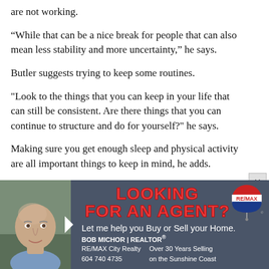are not working.
“While that can be a nice break for people that can also mean less stability and more uncertainty,” he says.
Butler suggests trying to keep some routines.
"Look to the things that you can keep in your life that can still be consistent. Are there things that you can continue to structure and do for yourself?" he says.
Making sure you get enough sleep and physical activity are all important things to keep in mind, he adds.
[Figure (advertisement): RE/MAX real estate advertisement featuring Bob Michor, Realtor. Text reads 'LOOKING FOR AN AGENT? Let me help you Buy or Sell your Home. BOB MICHOR | REALTOR® RE/MAX City Realty 604 740 4735 Over 30 Years Selling on the Sunshine Coast'. Includes RE/MAX balloon logo and photo of agent.]